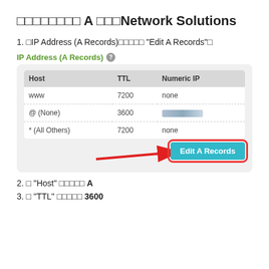□□□□□□□□ A □□□Network Solutions
1. □IP Address (A Records)□□□□□ "Edit A Records"□
[Figure (screenshot): Screenshot of IP Address (A Records) section from Network Solutions DNS management. Shows a table with columns Host, TTL, Numeric IP. Rows: www / 7200 / none; @ (None) / 3600 / [blurred IP]; * (All Others) / 7200 / none. A red arrow points to the 'Edit A Records' button with a red border.]
2. □ "Host" □□□□□ A
3. □ "TTL" □□□□□ 3600